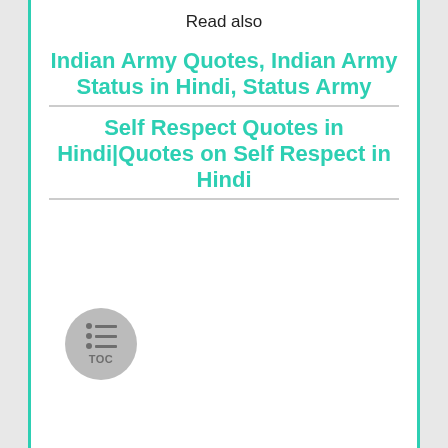Read also
Indian Army Quotes, Indian Army Status in Hindi, Status Army
Self Respect Quotes in Hindi|Quotes on Self Respect in Hindi
[Figure (other): TOC (Table of Contents) circular button icon with list lines and dots, gray background]